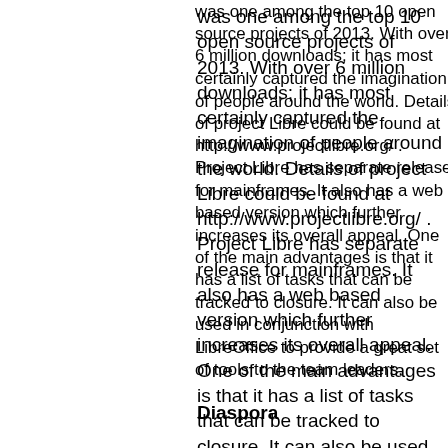was one among the top 10 open source projects of 2013. With over 6 million downloads; it has most certainly captured the imagination of people around the world. Details of project Libre could be found at http://www.projectlibre.org/ . Project Libre has separate release for mainframes. It also has a web based version which further increases its overall appeal. One of the main advantages is that it has a list of tasks that can be tracked to closure. It can also be used in conjunction with LibreOffice to provide a great set of tools to the team leaders.
Diaspora